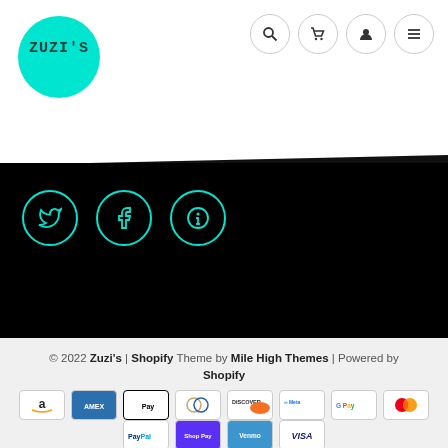[Figure (logo): Zuzi's logo — teal/cyan circle with stylized text ZUZI'S]
[Figure (infographic): Navigation bar icons: search, cart, account, menu (hamburger) — four circular outlined buttons top right]
[Figure (infographic): Black footer band with three circular social media icons: Twitter, Facebook, Pinterest — outlined in teal/cyan]
© 2022 Zuzi's | Shopify Theme by Mile High Themes | Powered by Shopify
[Figure (infographic): Payment method icons row 1: Amazon, American Express, Apple Pay, Diners Club, Discover, Meta Pay, Google Pay, Mastercard]
[Figure (infographic): Payment method icons row 2: PayPal, Shop Pay, Venmo, Visa]